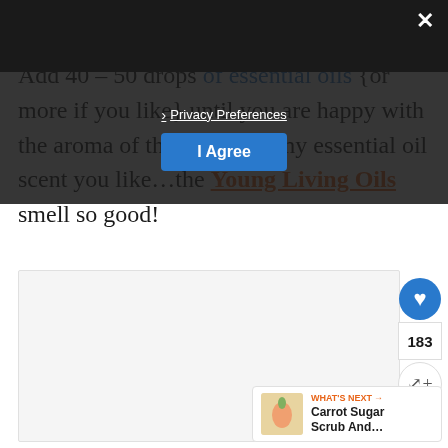4. Drop Esse…
Add 40 – 50 drops of essential oils {or more if you like} until you are happy with the aroma of the oils! Use any essential oil scent you like…the Young Living Oils smell so good!
[Figure (screenshot): Privacy Preferences modal overlay with 'I Agree' button]
[Figure (photo): Partial image area, light gray placeholder]
183
WHAT'S NEXT → Carrot Sugar Scrub And…